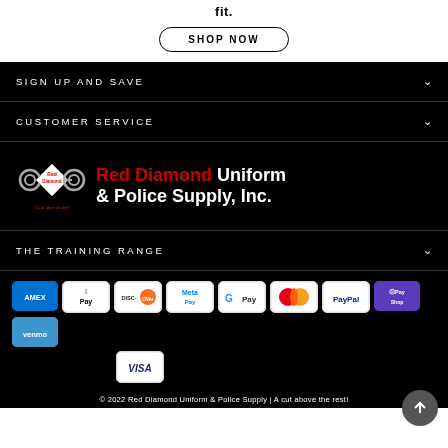fit.
SHOP NOW
SIGN UP AND SAVE
CUSTOMER SERVICE
[Figure (logo): Red Diamond Uniform & Police Supply, Inc. logo with handcuffs and diamond graphic]
THE TRAINING RANGE
[Figure (infographic): Payment method icons: American Express, Apple Pay, Discover, Meta Pay, Google Pay, Mastercard, PayPal, Shop Pay, Venmo, Visa]
© 2022 Red Diamond Uniform & Police Supply | A cut above the rest!